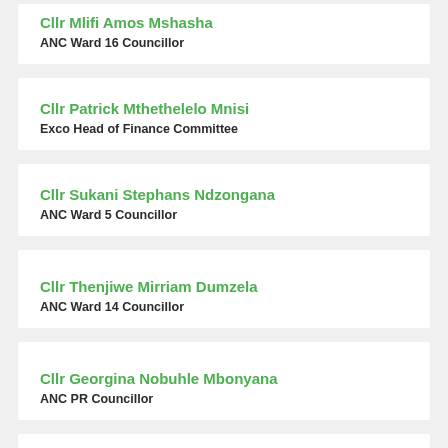Cllr Mlifi Amos Mshasha
ANC Ward 16 Councillor
Cllr Patrick Mthethelelo Mnisi
Exco Head of Finance Committee
Cllr Sukani Stephans Ndzongana
ANC Ward 5 Councillor
Cllr Thenjiwe Mirriam Dumzela
ANC Ward 14 Councillor
Cllr Georgina Nobuhle Mbonyana
ANC PR Councillor